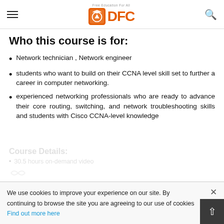DFC - Free Education For All
Who this course is for:
Network technician , Network engineer
students who want to build on their CCNA level skill set to further a career in computer networking.
experienced networking professionals who are ready to advance their core routing, switching, and network troubleshooting skills and students with Cisco CCNA-level knowledge
We use cookies to improve your experience on our site. By continuing to browse the site you are agreeing to our use of cookies Find out more here
30.5 hours on-demand video